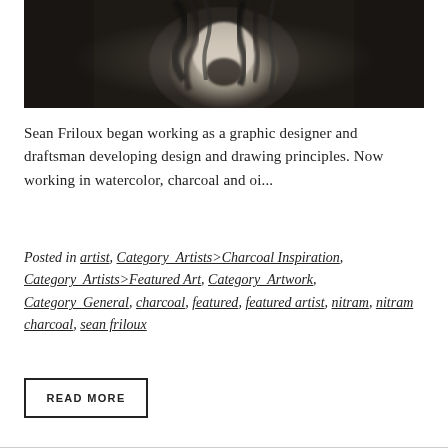[Figure (photo): Black and white charcoal or photograph artwork showing a figure with dark hair, dramatic shadowing and light, torso visible, moody artistic style]
Sean Friloux began working as a graphic designer and draftsman developing design and drawing principles. Now working in watercolor, charcoal and oi...
Posted in artist, Category_Artists>Charcoal Inspiration, Category_Artists>Featured Art, Category_Artwork, Category_General, charcoal, featured, featured artist, nitram, nitram charcoal, sean friloux
READ MORE